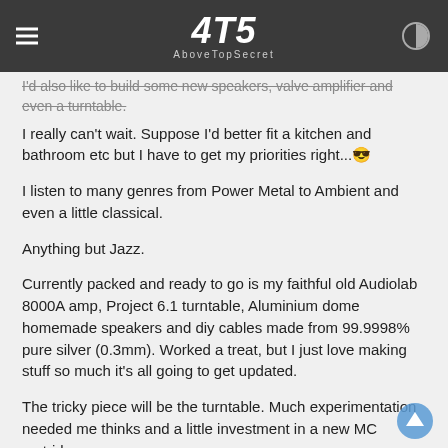AboveTopSecret
I'd also like to build some new speakers, valve amplifier and even a turntable.
I really can't wait. Suppose I'd better fit a kitchen and bathroom etc but I have to get my priorities right...😎
I listen to many genres from Power Metal to Ambient and even a little classical.
Anything but Jazz.
Currently packed and ready to go is my faithful old Audiolab 8000A amp, Project 6.1 turntable, Aluminium dome homemade speakers and diy cables made from 99.9998% pure silver (0.3mm). Worked a treat, but I just love making stuff so much it's all going to get updated.
The tricky piece will be the turntable. Much experimentation needed me thinks and a little investment in a new MC cartridge.
Happy listening folks.